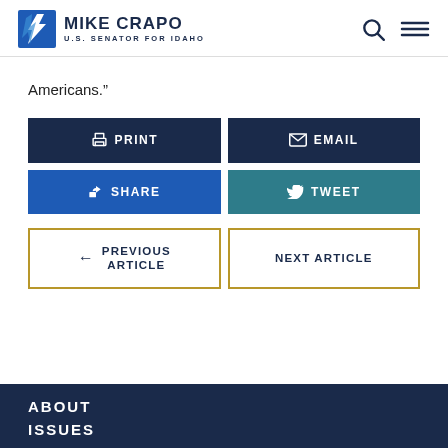MIKE CRAPO U.S. SENATOR FOR IDAHO
Americans.”
PRINT
EMAIL
SHARE
TWEET
PREVIOUS ARTICLE
NEXT ARTICLE
ABOUT ISSUES